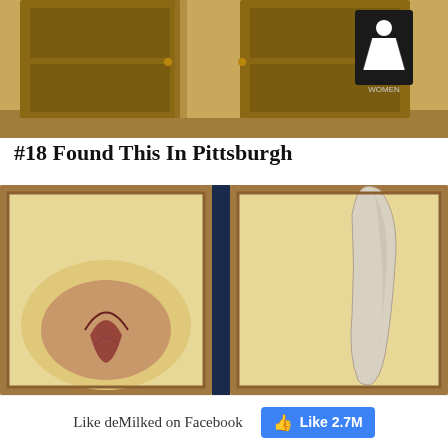[Figure (photo): Photo of hallway with wooden doors, one door has a Women restroom sign (female silhouette icon) on a dark background]
#18 Found This In Pittsburgh
[Figure (photo): Photo of two framed anatomical artworks on a yellow wall — left shows a cross-section of an organ, right shows an elongated anatomical shape — with a dark blue gap between the two frames]
Like deMilked on Facebook
Like 2.7M